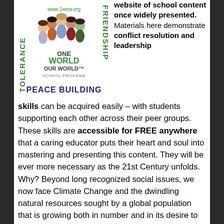[Figure (logo): One World Our World School Program logo with diversity of children, www.1wow.org, surrounded by vertical text TOLERANCE and FRIENDSHIP, with PEACE BUILDING at bottom]
website of school content once widely presented. Materials here demonstrate conflict resolution and leadership skills can be acquired easily – with students supporting each other across their peer groups. These skills are accessible for FREE anywhere that a caring educator puts their heart and soul into mastering and presenting this content. They will be ever more necessary as the 21st Century unfolds. Why? Beyond long recognized social issues, we now face Climate Change and the dwindling natural resources sought by a global population that is growing both in number and in its desire to consume. The blog posts at the top